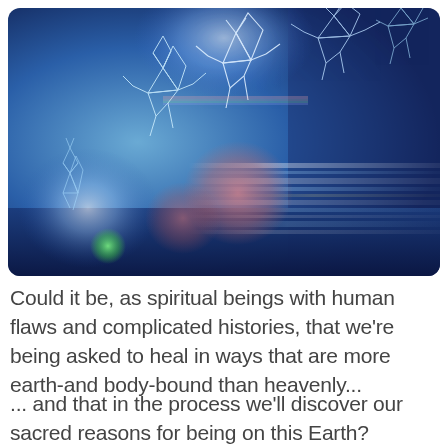[Figure (illustration): A digital/artistic image with a deep blue cosmic background featuring glowing white geometric wireframe figures resembling angels or spiritual beings, colorful lens flares in pink, red, and green, horizontal light streaks across the right side, and a luminous glow suggesting starlight or cosmic energy.]
Could it be, as spiritual beings with human flaws and complicated histories, that we're being asked to heal in ways that are more earth-and body-bound than heavenly...
... and that in the process we'll discover our sacred reasons for being on this Earth?